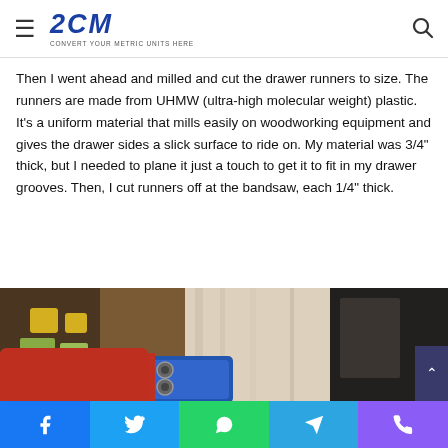2CM – CONVERT YOUR METRIC UNITS HERE
Then I went ahead and milled and cut the drawer runners to size. The runners are made from UHMW (ultra-high molecular weight) plastic. It's a uniform material that mills easily on woodworking equipment and gives the drawer sides a slick surface to ride on. My material was 3/4" thick, but I needed to plane it just a touch to get it to fit in my drawer grooves. Then, I cut runners off at the bandsaw, each 1/4" thick.
[Figure (photo): Close-up workshop photo showing a light wood panel or drawer side being aligned with a blue doweling jig. A person wearing a red flannel sleeve holds the jig against the wood. Tools and workshop items visible in the background.]
Social share buttons: Facebook, Twitter, WhatsApp, Telegram, Phone